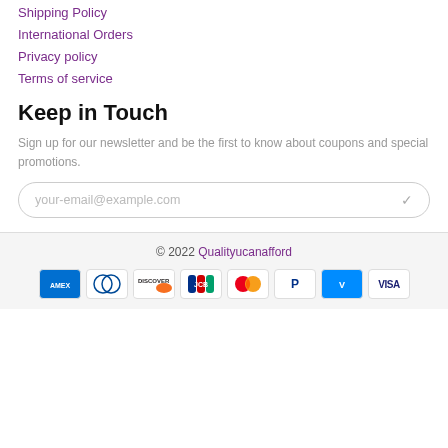Shipping Policy
International Orders
Privacy policy
Terms of service
Keep in Touch
Sign up for our newsletter and be the first to know about coupons and special promotions.
your-email@example.com
© 2022 Qualityucanafford
[Figure (other): Payment method icons: American Express, Diners Club, Discover, JCB, Mastercard, PayPal, Venmo, Visa]